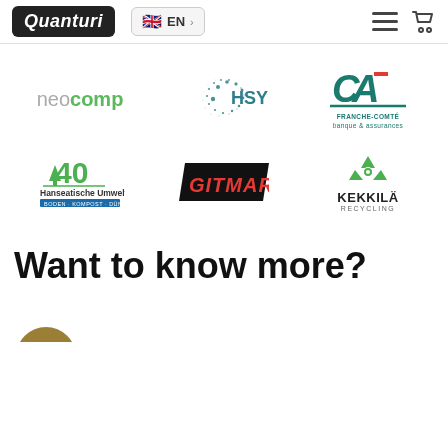Quanturi | EN | navigation
[Figure (logo): neocomp logo in grey and green text]
[Figure (logo): HSY logo with dotted circle spiral and teal text]
[Figure (logo): Crédit Agricole Franche-Comté banque & assurances logo]
[Figure (logo): Hanseatische Umwelt - Boden Kompost Dünger logo with green tree]
[Figure (logo): GITMARK logo in red italic on black parallelogram]
[Figure (logo): Kekkilä Recycling logo with green recycling icon]
Want to know more?
[Figure (logo): Partial circular logo at bottom, partially cropped]